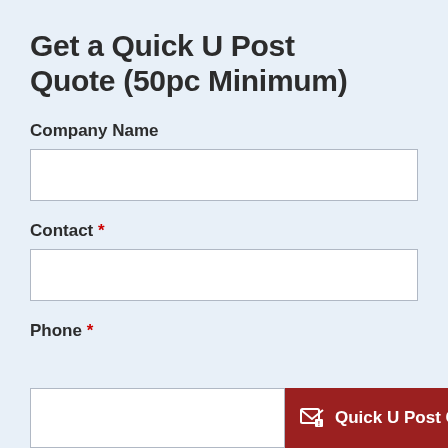Get a Quick U Post Quote (50pc Minimum)
Company Name
Contact *
Phone *